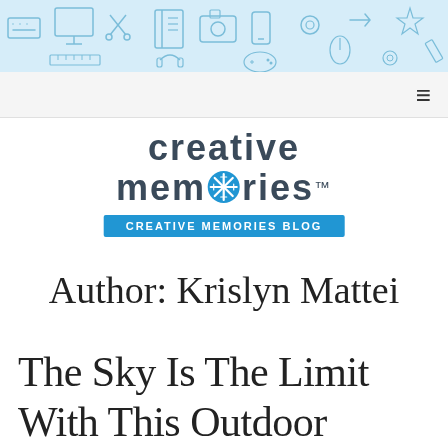[Figure (illustration): Light blue banner with scattered technology/craft-related doodle icons (keyboard, notebook, scissors, camera, phone, etc.) on a light blue background]
[Figure (logo): Creative Memories logo: 'creative memories' in dark slate bold lowercase text with a blue snowflake/asterisk replacing the 'o' in memories, and a blue rectangular badge below reading 'CREATIVE MEMORIES BLOG']
Author: Krislyn Mattei
The Sky Is The Limit With This Outdoor